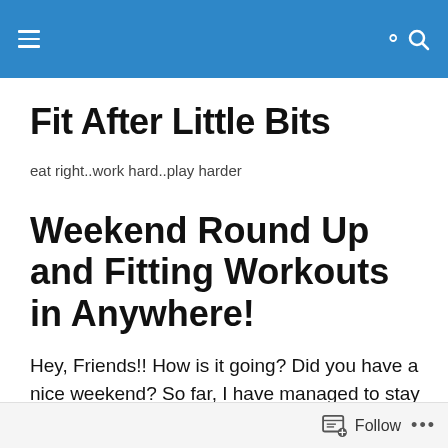Fit After Little Bits — navigation header bar
Fit After Little Bits
eat right..work hard..play harder
Weekend Round Up and Fitting Workouts in Anywhere!
Hey, Friends!! How is it going? Did you have a nice weekend? So far, I have managed to stay on the healthy side of things…I better go find some thick wood to knock on!
Follow